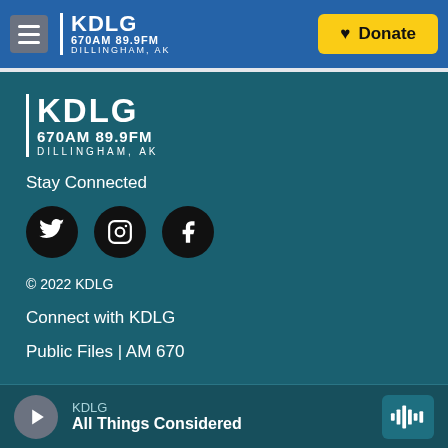KDLG 670AM 89.9FM DILLINGHAM, AK — Donate
[Figure (logo): KDLG radio station logo with text: KDLG 670AM 89.9FM DILLINGHAM, AK]
Stay Connected
[Figure (infographic): Social media icons: Twitter, Instagram, Facebook (black circles with white icons)]
© 2022 KDLG
Connect with KDLG
Public Files | AM 670
KDLG — All Things Considered